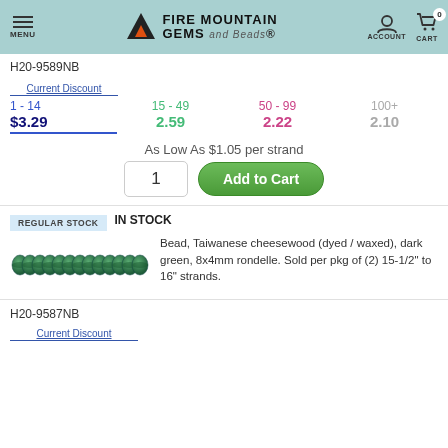Fire Mountain Gems and Beads — MENU | ACCOUNT | CART 0
H20-9589NB
| 1 - 14 | 15 - 49 | 50 - 99 | 100+ |
| --- | --- | --- | --- |
| $3.29 | 2.59 | 2.22 | 2.10 |
As Low As $1.05 per strand
1   Add to Cart
REGULAR STOCK
IN STOCK
Bead, Taiwanese cheesewood (dyed / waxed), dark green, 8x4mm rondelle. Sold per pkg of (2) 15-1/2" to 16" strands.
H20-9587NB
Current Discount